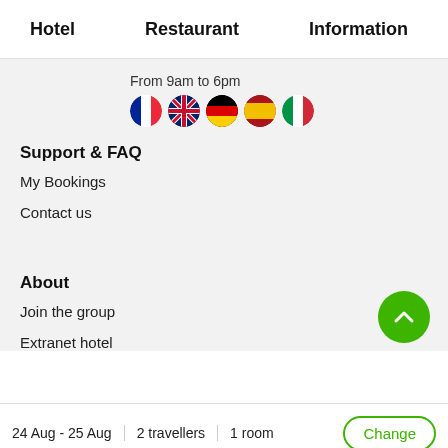Hotel   Restaurant   Information
From 9am to 6pm
[Figure (illustration): Five circular flag icons: French, British, German, Spanish, Italian]
Support & FAQ
My Bookings
Contact us
About
Join the group
Extranet hotel
24 Aug - 25 Aug   2 travellers   1 room   Change
show the rates